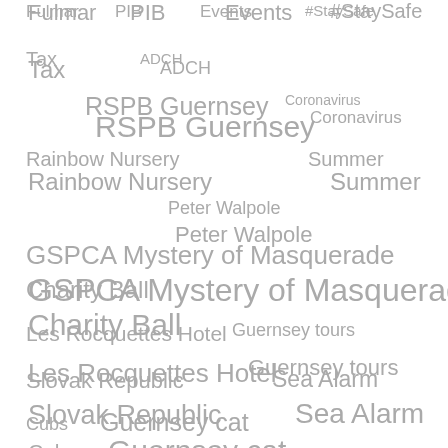[Figure (infographic): Tag cloud with various terms in different font sizes arranged across the page. Terms include: Fulmar, PIB, Events, #StaySafe, Tax, ADCH, Coronavirus, RSPB Guernsey, Rainbow Nursery, Summer, Peter Walpole, GSPCA Mystery of Masquerade, Charity Ball, Les Rocquettes Hotel, Guernsey tours, Slovak Republic, Sea Alarm, Cubs, Guernsey cat, Puppy Farm, Guernsey Beekeepers, Bring your dog to work, JER Electrical, GFF, International Dog Day, Reptiles, Guernsey GSPCA, Acorn House, CSFG, Bastille Day, Grey seal seal pup, London Marathon, Guernsey Bereavement Service]